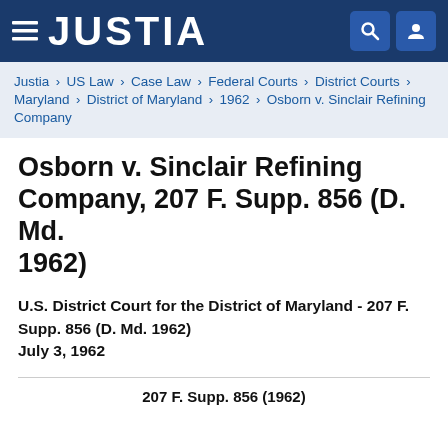JUSTIA
Justia › US Law › Case Law › Federal Courts › District Courts › Maryland › District of Maryland › 1962 › Osborn v. Sinclair Refining Company
Osborn v. Sinclair Refining Company, 207 F. Supp. 856 (D. Md. 1962)
U.S. District Court for the District of Maryland - 207 F. Supp. 856 (D. Md. 1962)
July 3, 1962
207 F. Supp. 856 (1962)